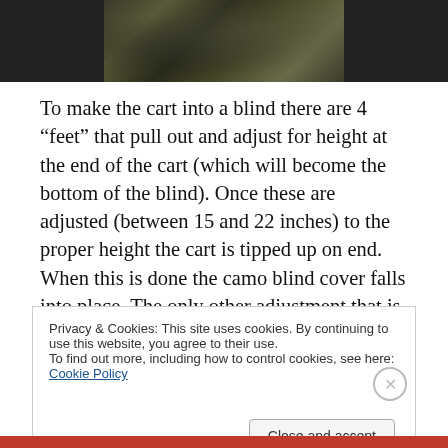[Figure (photo): Partial photo of camouflage or natural brush/foliage scene, dark tones]
To make the cart into a blind there are 4 “feet” that pull out and adjust for height at the end of the cart (which will become the bottom of the blind). Once these are adjusted (between 15 and 22 inches) to the proper height the cart is tipped up on end. When this is done the camo blind cover falls into place. The only other adjustment that is needed to complete the conversion is to adjust the telescoping pull handle to become a rear support for the blind. When used
Privacy & Cookies: This site uses cookies. By continuing to use this website, you agree to their use.
To find out more, including how to control cookies, see here: Cookie Policy
Close and accept